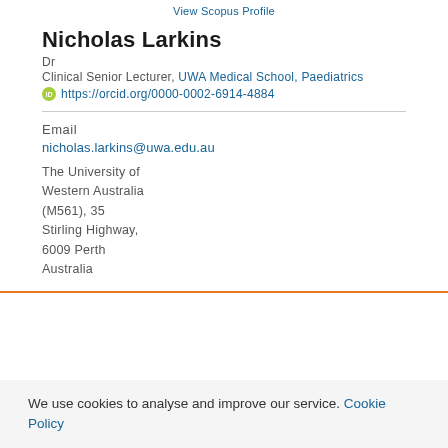View Scopus Profile
Nicholas Larkins
Dr
Clinical Senior Lecturer, UWA Medical School, Paediatrics
https://orcid.org/0000-0002-6914-4884
Email
nicholas.larkins@uwa.edu.au
The University of Western Australia (M561), 35 Stirling Highway, 6009 Perth Australia
We use cookies to analyse and improve our service. Cookie Policy